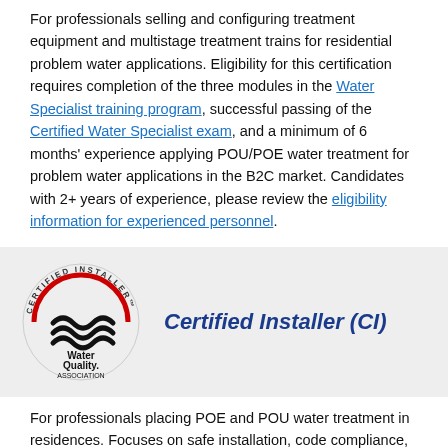For professionals selling and configuring treatment equipment and multistage treatment trains for residential problem water applications. Eligibility for this certification requires completion of the three modules in the Water Specialist training program, successful passing of the Certified Water Specialist exam, and a minimum of 6 months' experience applying POU/POE water treatment for problem water applications in the B2C market. Candidates with 2+ years of experience, please review the eligibility information for experienced personnel.
[Figure (logo): Certified Installer (CI) badge with Water Quality Association logo in a circular seal with red arc and text 'CERTIFIED INSTALLER', alongside bold italic blue text reading 'Certified Installer (CI)']
For professionals placing POE and POU water treatment in residences. Focuses on safe installation, code compliance, and general water treatment equipment knowledge. Eligibility for this certification requires completion of the Installer training course